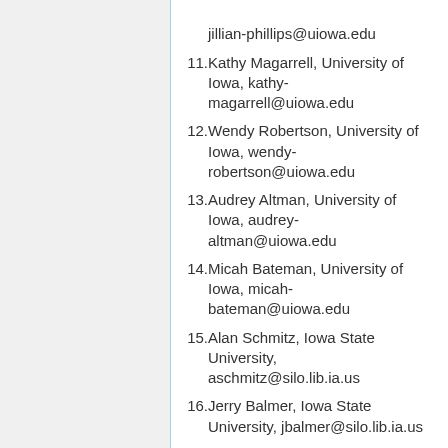jillian-phillips@uiowa.edu
11. Kathy Magarrell, University of Iowa, kathy-magarrell@uiowa.edu
12. Wendy Robertson, University of Iowa, wendy-robertson@uiowa.edu
13. Audrey Altman, University of Iowa, audrey-altman@uiowa.edu
14. Micah Bateman, University of Iowa, micah-bateman@uiowa.edu
15. Alan Schmitz, Iowa State University, aschmitz@silo.lib.ia.us
16. Jerry Balmer, Iowa State University, jbalmer@silo.lib.ia.us
17. Paul Ertz, Iowa State University, pertz@silo.lib.ia.us
18. Marie Harms, Iowa Library Services,